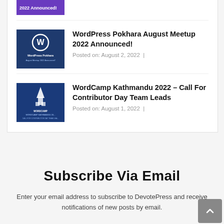[Figure (screenshot): WordPress Pokhara August Meetup 2022 Announced thumbnail – dark blue background with WordPress logo and text]
WordPress Pokhara August Meetup 2022 Announced!
Posted on: August 2, 2022  |
[Figure (screenshot): WordCamp Kathmandu 2022 thumbnail – dark blue background with mosque/building silhouette and WordCamp branding]
WordCamp Kathmandu 2022 – Call For Contributor Day Team Leads
Posted on: August 1, 2022  |
Subscribe Via Email
Enter your email address to subscribe to DevotePress and receive notifications of new posts by email.